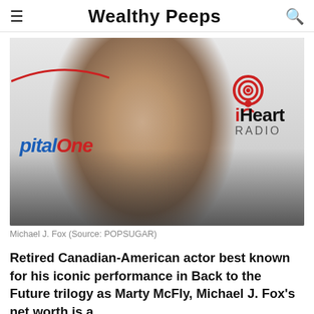Wealthy Peeps
[Figure (photo): Photo of Michael J. Fox standing in front of Capital One and iHeart Radio branded backdrop, wearing a dark blazer and light blue shirt]
Michael J. Fox (Source: POPSUGAR)
Retired Canadian-American actor best known for his iconic performance in Back to the Future trilogy as Marty McFly, Michael J. Fox's net worth is a